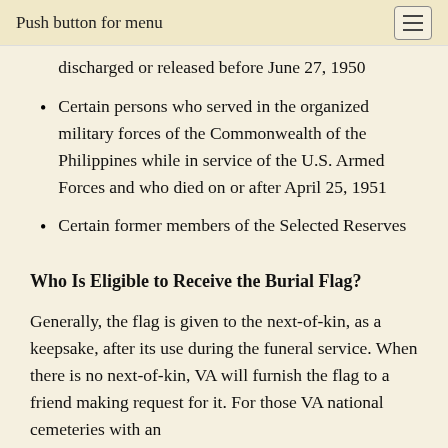Push button for menu
discharged or released before June 27, 1950
Certain persons who served in the organized military forces of the Commonwealth of the Philippines while in service of the U.S. Armed Forces and who died on or after April 25, 1951
Certain former members of the Selected Reserves
Who Is Eligible to Receive the Burial Flag?
Generally, the flag is given to the next-of-kin, as a keepsake, after its use during the funeral service. When there is no next-of-kin, VA will furnish the flag to a friend making request for it. For those VA national cemeteries with an